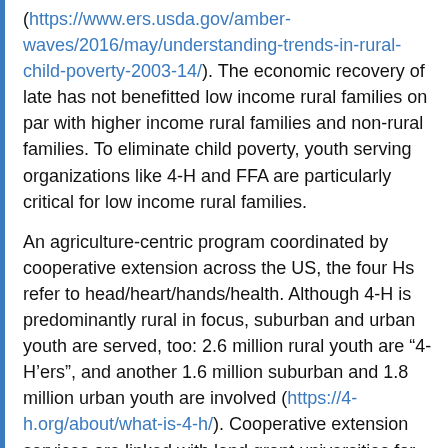(https://www.ers.usda.gov/amber-waves/2016/may/understanding-trends-in-rural-child-poverty-2003-14/). The economic recovery of late has not benefitted low income rural families on par with higher income rural families and non-rural families. To eliminate child poverty, youth serving organizations like 4-H and FFA are particularly critical for low income rural families.
An agriculture-centric program coordinated by cooperative extension across the US, the four Hs refer to head/heart/hands/health. Although 4-H is predominantly rural in focus, suburban and urban youth are served, too: 2.6 million rural youth are “4-H’ers”, and another 1.6 million suburban and 1.8 million urban youth are involved (https://4-h.org/about/what-is-4-h/). Cooperative extension services are linked with land grant universities for the purpose of disseminating agriculture science to strengthen the economic stability among farmers, farm families, and farm communities (https://nifa.usda.gov/extension). Some community